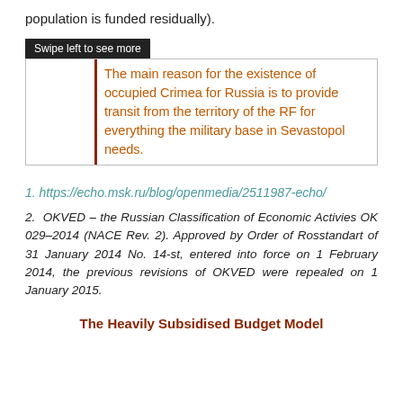population is funded residually).
|  | The main reason for the existence of occupied Crimea for Russia is to provide transit from the territory of the RF for everything the military base in Sevastopol needs. |
1. https://echo.msk.ru/blog/openmedia/2511987-echo/
2. OKVED – the Russian Classification of Economic Activies OK 029–2014 (NACE Rev. 2). Approved by Order of Rosstandart of 31 January 2014 No. 14-st, entered into force on 1 February 2014, the previous revisions of OKVED were repealed on 1 January 2015.
The Heavily Subsidised Budget Model